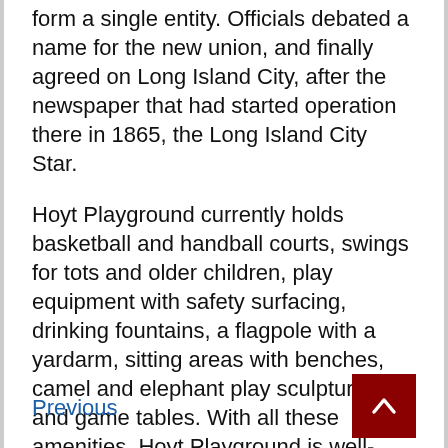form a single entity. Officials debated a name for the new union, and finally agreed on Long Island City, after the newspaper that had started operation there in 1865, the Long Island City Star.
Hoyt Playground currently holds basketball and handball courts, swings for tots and older children, play equipment with safety surfacing, drinking fountains, a flagpole with a yardarm, sitting areas with benches, camel and elephant play sculptures, and game tables. With all these amenities, Hoyt Playground is well-equipped to serve the needs of visitors of all ages.
Previous